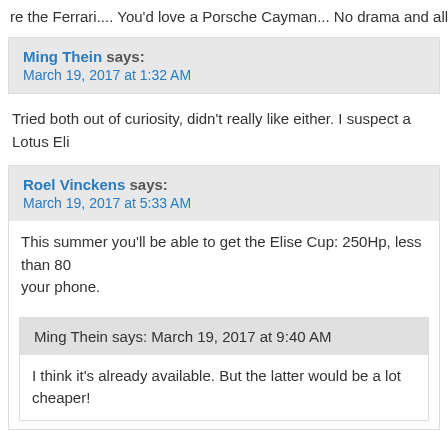re the Ferrari.... You'd love a Porsche Cayman... No drama and all the vo
Ming Thein says:
March 19, 2017 at 1:32 AM
Tried both out of curiosity, didn't really like either. I suspect a Lotus Eli
Roel Vinckens says:
March 19, 2017 at 5:33 AM
This summer you'll be able to get the Elise Cup: 250Hp, less than 80
your phone.
Ming Thein says:
March 19, 2017 at 9:40 AM
I think it's already available. But the latter would be a lot cheaper!